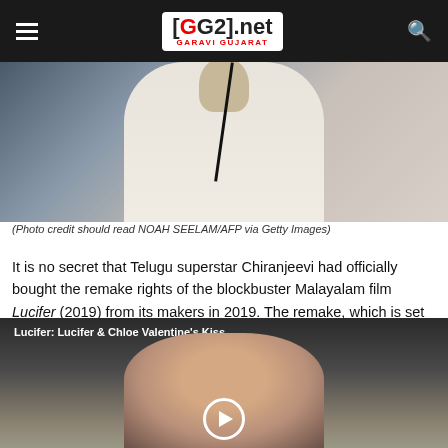GG2.net GARAVI GUJARAT
[Figure (photo): Photo of Chiranjeevi in a white shirt with a lanyard/black cord around his neck, upper body visible, dark background.]
(Photo credit should read NOAH SEELAM/AFP via Getty Images)
It is no secret that Telugu superstar Chiranjeevi had officially bought the remake rights of the blockbuster Malayalam film Lucifer (2019) from its makers in 2019. The remake, which is set to be his 153rd film, was launched on Wednesday amid much fanfare.
[Figure (screenshot): Video thumbnail showing a woman's face with text overlay reading 'Lucifer: Lucifer & Chloe Valentine's Kiss' and a play button circle at the bottom center.]